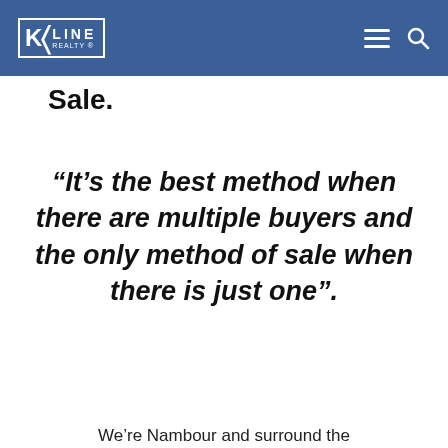KEYLINE REALTY
Sale.
“It’s the best method when there are multiple buyers and the only method of sale when there is just one”.
We’re Nambour and surround the